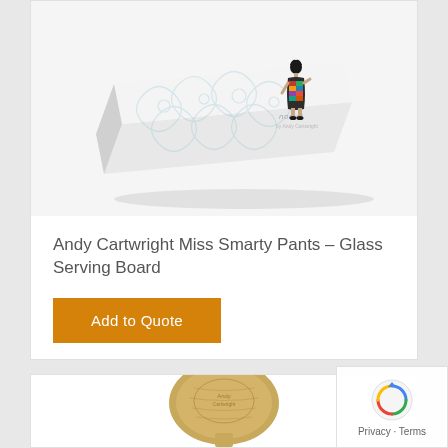[Figure (photo): Andy Cartwright Miss Smarty Pants Glass Serving Board product photo showing a decorative glass board with a woman silhouette figure and floral pattern, noovii branding visible]
Andy Cartwright Miss Smarty Pants – Glass Serving Board
Add to Quote
[Figure (photo): Partial view of a wooden spoon product from below]